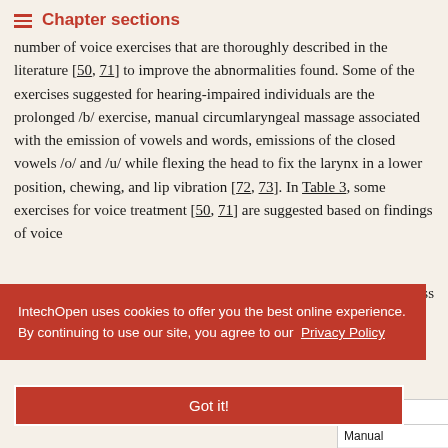Chapter sections
number of voice exercises that are thoroughly described in the literature [50, 71] to improve the abnormalities found. Some of the exercises suggested for hearing-impaired individuals are the prolonged /b/ exercise, manual circumlaryngeal massage associated with the emission of vowels and words, emissions of the closed vowels /o/ and /u/ while flexing the head to fix the larynx in a lower position, chewing, and lip vibration [72, 73]. In Table 3, some exercises for voice treatment [50, 71] are suggested based on findings of voice
ng loss
IntechOpen uses cookies to offer you the best online experience. By continuing to use our site, you agree to our Privacy Policy
Got it!
| Exercise |
| --- |
| Manual |